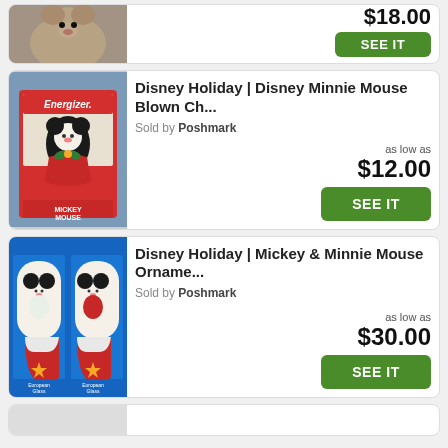[Figure (screenshot): Partial product card at top showing a plush toy image and price $18.00 with SEE IT button]
[Figure (photo): Disney Minnie Mouse in Energizer branded box ornament]
Disney Holiday | Disney Minnie Mouse Blown Ch...
Sold by Poshmark
as low as $12.00
[Figure (photo): Mickey and Minnie Mouse European Glass ornaments in Christmas stocking boxes]
Disney Holiday | Mickey & Minnie Mouse Orname...
Sold by Poshmark
as low as $30.00
[Figure (screenshot): Partial bottom card visible at very bottom of page]